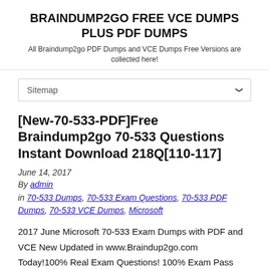BRAINDUMP2GO FREE VCE DUMPS PLUS PDF DUMPS
All Braindump2go PDF Dumps and VCE Dumps Free Versions are collected here!
Sitemap
[New-70-533-PDF]Free Braindump2go 70-533 Questions Instant Download 218Q[110-117]
June 14, 2017
By admin
in 70-533 Dumps, 70-533 Exam Questions, 70-533 PDF Dumps, 70-533 VCE Dumps, Microsoft
2017 June Microsoft 70-533 Exam Dumps with PDF and VCE New Updated in www.Braindup2go.com  Today!100% Real Exam Questions! 100% Exam Pass Guaranteed!